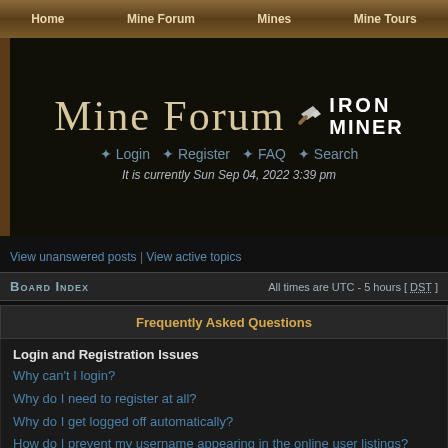Home | Mine Forum | Mines | Mine Tours
Mine Forum IRON MINER
✦ Login ✦ Register ✦ FAQ ✦ Search
It is currently Sun Sep 04, 2022 3:39 pm
View unanswered posts | View active topics
Board Index   All times are UTC - 5 hours [ DST ]
Frequently Asked Questions
Login and Registration Issues
Why can't I login?
Why do I need to register at all?
Why do I get logged off automatically?
How do I prevent my username appearing in the online user listings?
I've lost my password!
I registered but cannot login!